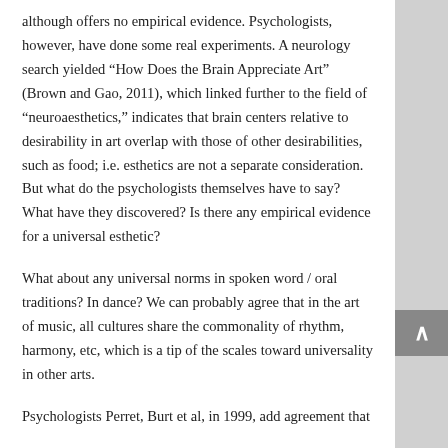although offers no empirical evidence. Psychologists, however, have done some real experiments. A neurology search yielded “How Does the Brain Appreciate Art” (Brown and Gao, 2011), which linked further to the field of “neuroaesthetics,” indicates that brain centers relative to desirability in art overlap with those of other desirabilities, such as food; i.e. esthetics are not a separate consideration. But what do the psychologists themselves have to say? What have they discovered? Is there any empirical evidence for a universal esthetic?
What about any universal norms in spoken word / oral traditions? In dance? We can probably agree that in the art of music, all cultures share the commonality of rhythm, harmony, etc, which is a tip of the scales toward universality in other arts.
Psychologists Perret, Burt et al, in 1999, add agreement that